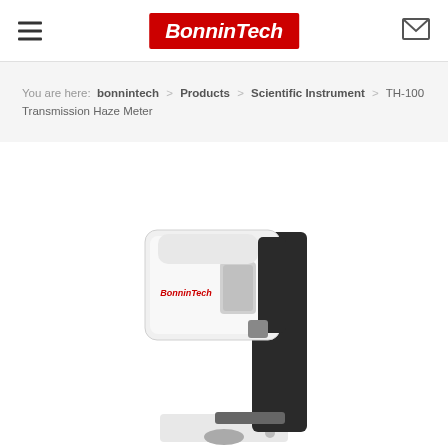BonninTech
You are here: bonnintech > Products > Scientific Instrument > TH-100 Transmission Haze Meter
[Figure (photo): TH-100 Transmission Haze Meter device — white and black scientific instrument with BonninTech logo in red on the front, mounted on a black stand/arm, photographed on white background]